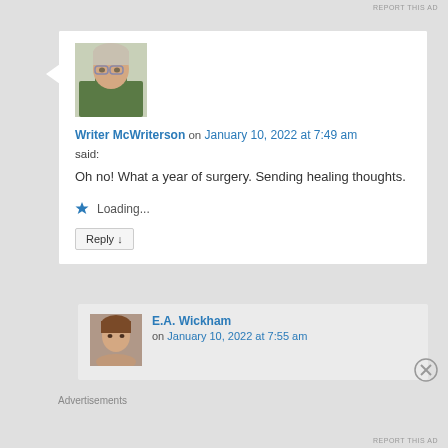REPORT THIS AD
[Figure (photo): Profile photo of Writer McWriterson — a person wearing glasses and a green turtleneck sweater]
Writer McWriterson on January 10, 2022 at 7:49 am
said:
Oh no! What a year of surgery. Sending healing thoughts.
Loading...
Reply ↓
[Figure (photo): Profile photo of E.A. Wickham — a person with brown hair]
E.A. Wickham on January 10, 2022 at 7:55 am
Advertisements
REPORT THIS AD